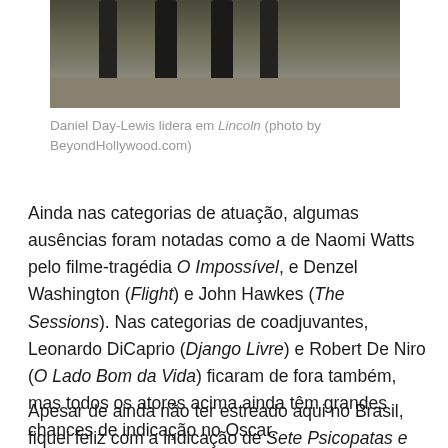[Figure (photo): Cropped photo showing the lower legs and hooves of horses standing on dark ground]
Daniel Day-Lewis lidera em Lincoln (photo by BeyondHollywood.com)
Ainda nas categorias de atuação, algumas ausências foram notadas como a de Naomi Watts pelo filme-tragédia O Impossível, e Denzel Washington (Flight) e John Hawkes (The Sessions). Nas categorias de coadjuvantes, Leonardo DiCaprio (Django Livre) e Robert De Niro (O Lado Bom da Vida) ficaram de fora também, mas todos os atores acima ainda têm grandes chances de indicação no Oscar.
Apesar de ainda não ter estreado aqui no Brasil, fiquei feliz com a indicação de Sete Psicopatas e um Shih Tzu